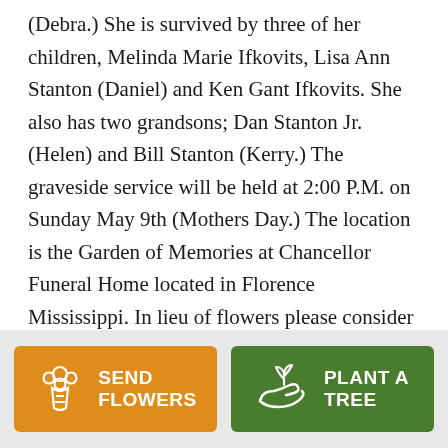(Debra.) She is survived by three of her children, Melinda Marie Ifkovits, Lisa Ann Stanton (Daniel) and Ken Gant Ifkovits. She also has two grandsons; Dan Stanton Jr. (Helen) and Bill Stanton (Kerry.) The graveside service will be held at 2:00 P.M. on Sunday May 9th (Mothers Day.) The location is the Garden of Memories at Chancellor Funeral Home located in Florence Mississippi. In lieu of flowers please consider making a donation to the children's programs at Sahuaro Baptist Church, 10361 E. Old Spanish Trail, Tucson, AZ 85748. Or any alternative children's
[Figure (other): Two buttons at the bottom: an orange 'SEND FLOWERS' button with a flower bouquet icon, and a green 'PLANT A TREE' button with a plant/hand icon.]